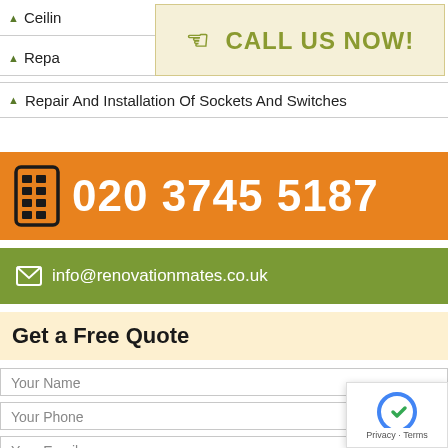▲ Ceilin...
▲ Repa...
[Figure (infographic): Call us now banner with hand pointer icon and text CALL US NOW! on beige background]
▲ Repair And Installation Of Sockets And Switches
[Figure (infographic): Orange banner with mobile phone icon and phone number 020 3745 5187 in white bold text]
[Figure (infographic): Green banner with envelope icon and email info@renovationmates.co.uk in white text]
Get a Free Quote
Your Name
Your Phone
Your Email